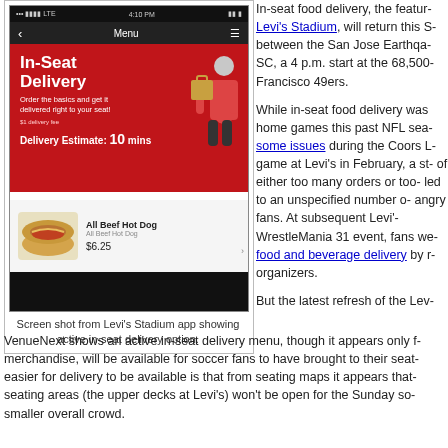[Figure (screenshot): Screenshot of Levi's Stadium app showing In-Seat Delivery interface with a food delivery worker graphic, 'Delivery Estimate: 10 mins', and an All Beef Hot Dog item for $6.25]
Screen shot from Levi's Stadium app showing active in-seat delivery option.
In-seat food delivery, the featur- Levi's Stadium, will return this S- between the San Jose Earthqua- SC, a 4 p.m. start at the 68,500- Francisco 49ers.
While in-seat food delivery was home games this past NFL sea- some issues during the Coors L- game at Levi's in February, a st- of either too many orders or too- led to an unspecified number o- angry fans. At subsequent Levi'- WrestleMania 31 event, fans we- food and beverage delivery by - organizers.
But the latest refresh of the Lev- VenueNext shows an active in-seat delivery menu, though it appears only f- merchandise, will be available for soccer fans to have brought to their seat easier for delivery to be available is that from seating maps it appears that seating areas (the upper decks at Levi's) won't be open for the Sunday so- smaller overall crowd.